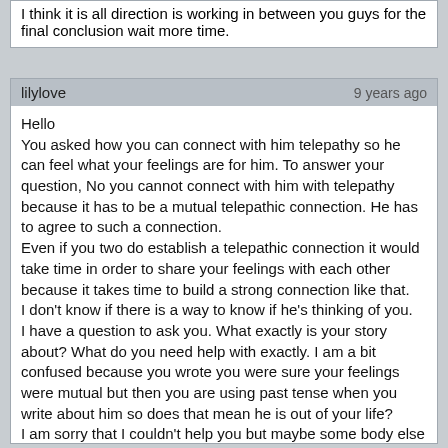I think it is all direction is working in between you guys for the final conclusion wait more time.
lilylove
9 years ago

Hello
You asked how you can connect with him telepathy so he can feel what your feelings are for him. To answer your question, No you cannot connect with him with telepathy because it has to be a mutual telepathic connection. He has to agree to such a connection.
Even if you two do establish a telepathic connection it would take time in order to share your feelings with each other because it takes time to build a strong connection like that.
I don't know if there is a way to know if he's thinking of you.
I have a question to ask you. What exactly is your story about? What do you need help with exactly. I am a bit confused because you wrote you were sure your feelings were mutual but then you are using past tense when you write about him so does that mean he is out of your life?
I am sorry that I couldn't help you but maybe some body else may be able to help answer your questions.
Good luck